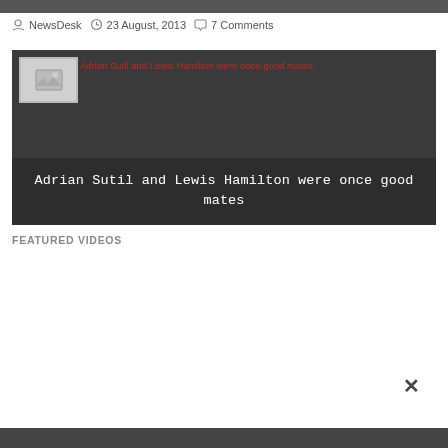NewsDesk  23 August, 2013  7 Comments
[Figure (photo): Adrian Sutil and Lewis Hamilton were once good mates — dark background image with white caption overlay text]
Adrian Sutil and Lewis Hamilton were once good mates
FEATURED VIDEOS